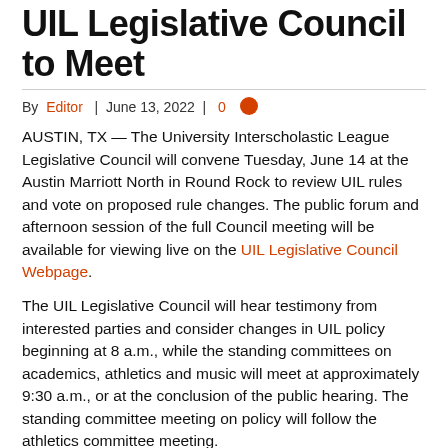UIL Legislative Council to Meet
By Editor | June 13, 2022 | 0
AUSTIN, TX — The University Interscholastic League Legislative Council will convene Tuesday, June 14 at the Austin Marriott North in Round Rock to review UIL rules and vote on proposed rule changes. The public forum and afternoon session of the full Council meeting will be available for viewing live on the UIL Legislative Council Webpage.
The UIL Legislative Council will hear testimony from interested parties and consider changes in UIL policy beginning at 8 a.m., while the standing committees on academics, athletics and music will meet at approximately 9:30 a.m., or at the conclusion of the public hearing. The standing committee meeting on policy will follow the athletics committee meeting.
After committee meetings, the full Legislative Council will reconvene at 1:00 p.m. to vote on proposals discussed in the Standing Committees and deliberate on other topics. The